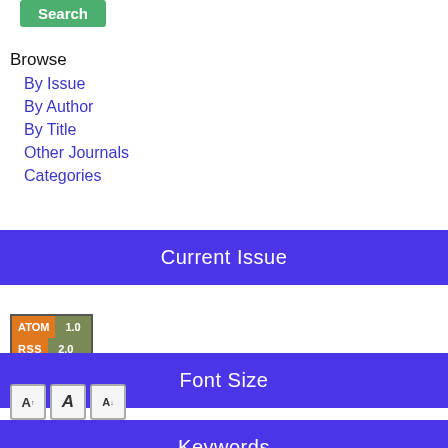[Figure (screenshot): Green Search button at top]
Browse
By Issue
By Author
By Title
Other Journals
Categories
Current Issue
[Figure (screenshot): Feed icons: ATOM 1.0, RSS 2.0, RSS 1.0]
Font Size
[Figure (screenshot): Font size icons: increase, normal, decrease]
Keywords